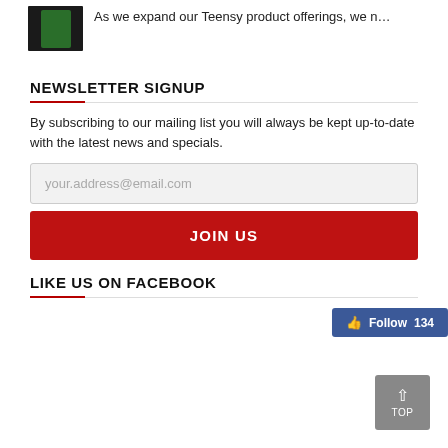[Figure (photo): Small green microcontroller/Teensy board on dark background]
As we expand our Teensy product offerings, we n…
NEWSLETTER SIGNUP
By subscribing to our mailing list you will always be kept up-to-date with the latest news and specials.
your.address@email.com
JOIN US
LIKE US ON FACEBOOK
[Figure (screenshot): Facebook Follow button showing 134 followers]